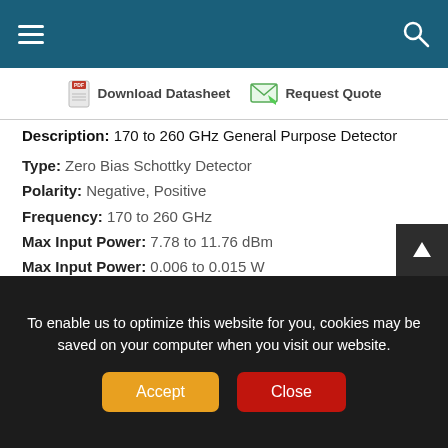Navigation bar with menu and search icons
Download Datasheet   Request Quote
Description: 170 to 260 GHz General Purpose Detector
Type: Zero Bias Schottky Detector
Polarity: Negative, Positive
Frequency: 170 to 260 GHz
Max Input Power: 7.78 to 11.76 dBm
Max Input Power: 0.006 to 0.015 W
Voltage Sensitivity: 600 mV/mW
Supply Voltage: 12 mV
Package Type: Module with Connectors
Connectors: SMA, SMA - Female
To enable us to optimize this website for you, cookies may be saved on your computer when you visit our website.